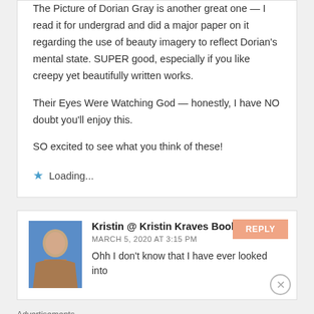The Picture of Dorian Gray is another great one — I read it for undergrad and did a major paper on it regarding the use of beauty imagery to reflect Dorian's mental state. SUPER good, especially if you like creepy yet beautifully written works.
Their Eyes Were Watching God — honestly, I have NO doubt you'll enjoy this.
SO excited to see what you think of these!
Loading...
Kristin @ Kristin Kraves Books says: MARCH 5, 2020 AT 3:15 PM
Ohh I don't know that I have ever looked into
Advertisements
[Figure (other): WordPress Hosting advertisement banner with P icon and OPEN sign image. Text reads: WORDPRESS HOSTING THAT MEANS BUSINESS.]